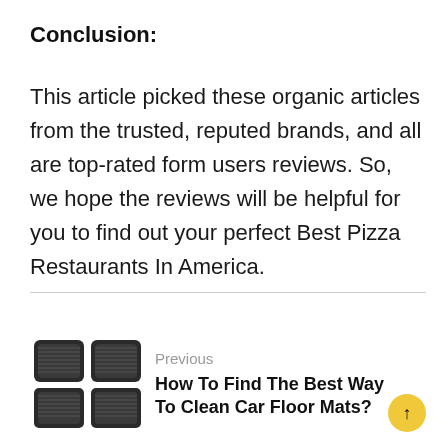Conclusion:
This article picked these organic articles from the trusted, reputed brands, and all are top-rated form users reviews. So, we hope the reviews will be helpful for you to find out your perfect Best Pizza Restaurants In America.
[Figure (illustration): Navigation thumbnail showing black rubber car floor mats in a 2x2 grid arrangement]
Previous
How To Find The Best Way To Clean Car Floor Mats?